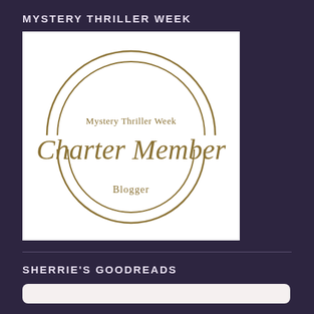MYSTERY THRILLER WEEK
[Figure (logo): Mystery Thriller Week Charter Member Blogger badge — circular gold double-ring logo on white background with script text 'Charter Member' and smaller text 'Mystery Thriller Week' above and 'Blogger' below]
SHERRIE'S GOODREADS
[Figure (screenshot): Partial Goodreads widget, light background, partially visible at bottom of page]